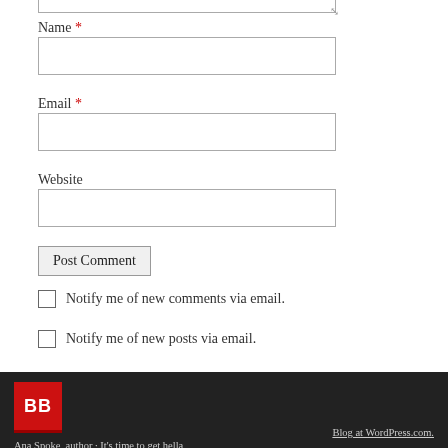Name *
Email *
Website
Post Comment
Notify me of new comments via email.
Notify me of new posts via email.
BB — Ana Spoke, author · It's time to get hella serious about writing! | Blog at WordPress.com.